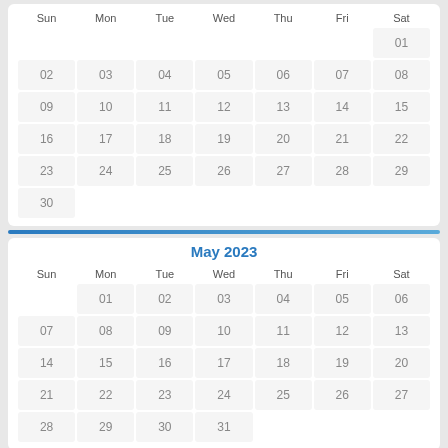| Sun | Mon | Tue | Wed | Thu | Fri | Sat |
| --- | --- | --- | --- | --- | --- | --- |
|  |  |  |  |  |  | 01 |
| 02 | 03 | 04 | 05 | 06 | 07 | 08 |
| 09 | 10 | 11 | 12 | 13 | 14 | 15 |
| 16 | 17 | 18 | 19 | 20 | 21 | 22 |
| 23 | 24 | 25 | 26 | 27 | 28 | 29 |
| 30 |  |  |  |  |  |  |
May 2023
| Sun | Mon | Tue | Wed | Thu | Fri | Sat |
| --- | --- | --- | --- | --- | --- | --- |
|  | 01 | 02 | 03 | 04 | 05 | 06 |
| 07 | 08 | 09 | 10 | 11 | 12 | 13 |
| 14 | 15 | 16 | 17 | 18 | 19 | 20 |
| 21 | 22 | 23 | 24 | 25 | 26 | 27 |
| 28 | 29 | 30 | 31 |  |  |  |